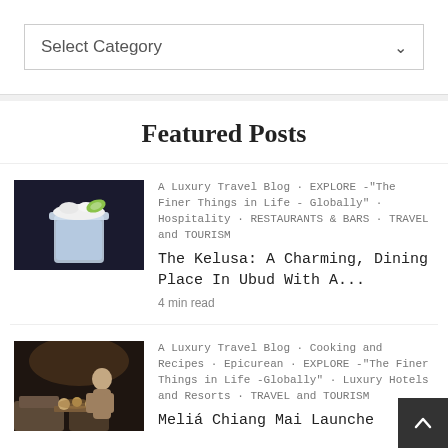Select Category
Featured Posts
[Figure (photo): A cocktail drink in a glass garnished with a lime slice and white flower/cream topping, on a dark background]
A Luxury Travel Blog · EXPLORE -"The Finer Things in Life - Globally" · Hospitality · RESTAURANTS & BARS · TRAVEL and TOURISM
The Kelusa: A Charming, Dining Place In Ubud With A...
4 min read
[Figure (photo): A person in a restaurant/hotel lounge setting with food displayed on a table, dim interior lighting]
A Luxury Travel Blog · Cooking and Recipes · Epicurean · EXPLORE -"The Finer Things in Life -Globally" · Luxury Hotels and Resorts · TRAVEL and TOURISM
Meliá Chiang Mai Launche